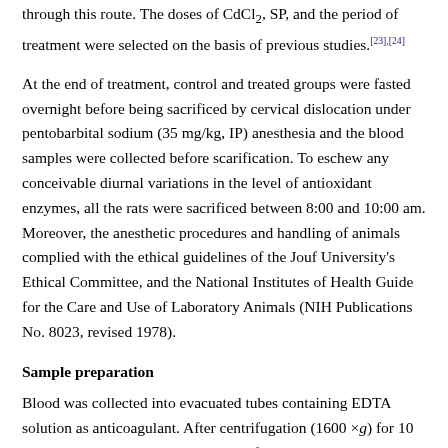through this route. The doses of CdCl₂, SP, and the period of treatment were selected on the basis of previous studies.[23],[24]
At the end of treatment, control and treated groups were fasted overnight before being sacrificed by cervical dislocation under pentobarbital sodium (35 mg/kg, IP) anesthesia and the blood samples were collected before scarification. To eschew any conceivable diurnal variations in the level of antioxidant enzymes, all the rats were sacrificed between 8:00 and 10:00 am. Moreover, the anesthetic procedures and handling of animals complied with the ethical guidelines of the Jouf University's Ethical Committee, and the National Institutes of Health Guide for the Care and Use of Laboratory Animals (NIH Publications No. 8023, revised 1978).
Sample preparation
Blood was collected into evacuated tubes containing EDTA solution as anticoagulant. After centrifugation (1600 ×g) for 10 min, the supernatant plasma was carefully removed to avoid contamination with platelets, and the samples were stored at −20°C for further utilization. Ice-cold saline buffer (20 mM Tris–HCl, 0.14M NaCl buffer, pH 7.4) was used to rinse the kidney and liver after their